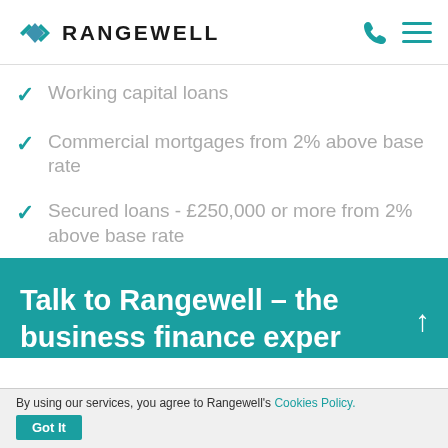RANGEWELL
Working capital loans
Commercial mortgages from 2% above base rate
Secured loans - £250,000 or more from 2% above base rate
Talk to Rangewell – the business finance exper
By using our services, you agree to Rangewell's Cookies Policy. Got It